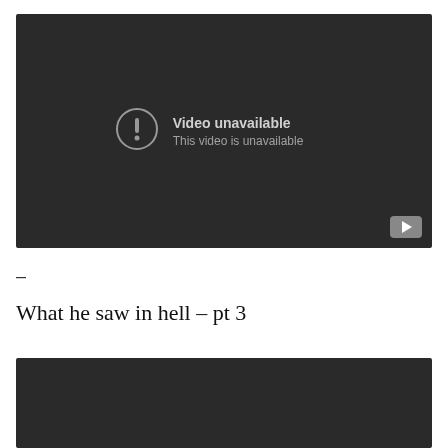[Figure (screenshot): Embedded video player showing 'Video unavailable' message with exclamation icon and YouTube logo button in bottom right corner. Dark background.]
–
What he saw in hell – pt 3
[Figure (screenshot): Second embedded video player, dark background, partially visible at bottom of page.]